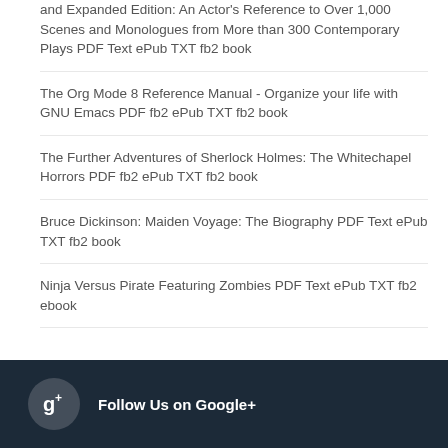and Expanded Edition: An Actor's Reference to Over 1,000 Scenes and Monologues from More than 300 Contemporary Plays PDF Text ePub TXT fb2 book
The Org Mode 8 Reference Manual - Organize your life with GNU Emacs PDF fb2 ePub TXT fb2 book
The Further Adventures of Sherlock Holmes: The Whitechapel Horrors PDF fb2 ePub TXT fb2 book
Bruce Dickinson: Maiden Voyage: The Biography PDF Text ePub TXT fb2 book
Ninja Versus Pirate Featuring Zombies PDF Text ePub TXT fb2 ebook
Follow Us on Google+